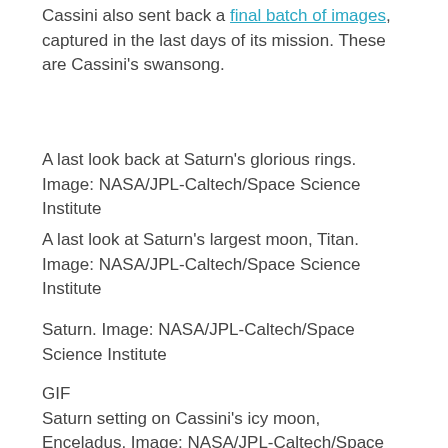Cassini also sent back a final batch of images, captured in the last days of its mission. These are Cassini's swansong.
A last look back at Saturn's glorious rings. Image: NASA/JPL-Caltech/Space Science Institute
A last look at Saturn's largest moon, Titan. Image: NASA/JPL-Caltech/Space Science Institute
Saturn. Image: NASA/JPL-Caltech/Space Science Institute
GIF
Saturn setting on Cassini's icy moon, Enceladus. Image: NASA/JPL-Caltech/Space Science Institute/Emilybakker...